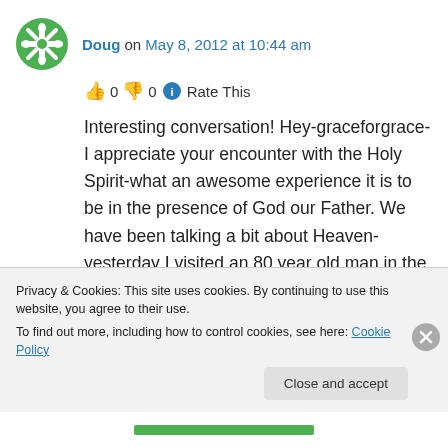Doug on May 8, 2012 at 10:44 am
👍 0 👎 0 ℹ Rate This
Interesting conversation! Hey-graceforgrace-I appreciate your encounter with the Holy Spirit-what an awesome experience it is to be in the presence of God our Father. We have been talking a bit about Heaven-yesterday I visited an 80 year old man in the hospital-when his wife arrived and asked him if anyone had been there
Privacy & Cookies: This site uses cookies. By continuing to use this website, you agree to their use.
To find out more, including how to control cookies, see here: Cookie Policy
Close and accept